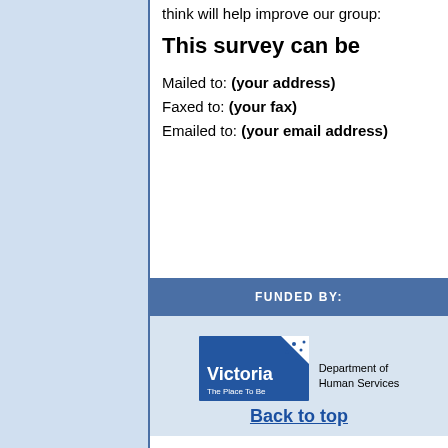think will help improve our group:
This survey can be
Mailed to: (your address)
Faxed to: (your fax)
Emailed to: (your email address)
[Figure (logo): Victoria Department of Human Services logo with 'FUNDED BY:' header bar]
Back to top